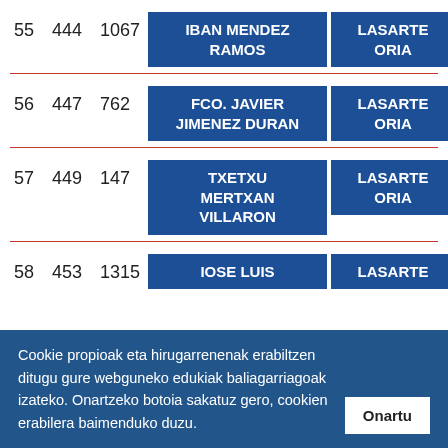| # | ID | Num | Name | City | Code |
| --- | --- | --- | --- | --- | --- |
| 55 | 444 | 1067 | IBAN MENDEZ RAMOS | LASARTE ORIA | SM |
| 56 | 447 | 762 | FCO. JAVIER JIMENEZ DURAN | LASARTE ORIA | SM |
| 57 | 449 | 147 | TXETXU MERTXAN VILLARON | LASARTE ORIA | VM |
| 58 | 453 | 1315 | IOSE LUIS | LASARTE | SM |
Cookie propioak eta hirugarrenenak erabiltzen ditugu gure webguneko edukiak baliagarriagoak izateko. Onartzeko botoia sakatuz gero, cookien erabilera baimenduko duzu. Onartu